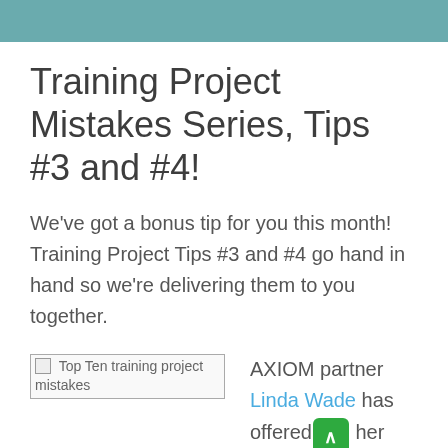Training Project Mistakes Series, Tips #3 and #4!
We've got a bonus tip for you this month! Training Project Tips #3 and #4 go hand in hand so we're delivering them to you together.
[Figure (other): Broken image placeholder labeled 'Top Ten training project mistakes']
AXIOM partner Linda Wade has offered to her Top 10 Training